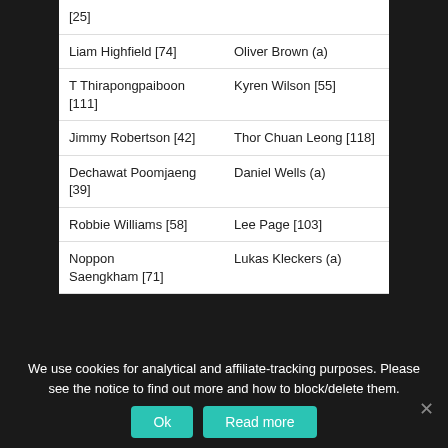| [25] |  |
| Liam Highfield [74] | Oliver Brown (a) |
| T Thirapongpaiboon [111] | Kyren Wilson [55] |
| Jimmy Robertson [42] | Thor Chuan Leong [118] |
| Dechawat Poomjaeng [39] | Daniel Wells (a) |
| Robbie Williams [58] | Lee Page [103] |
| Noppon Saengkham [71] | Lukas Kleckers (a) |
We use cookies for analytical and affiliate-tracking purposes. Please see the notice to find out more and how to block/delete them.